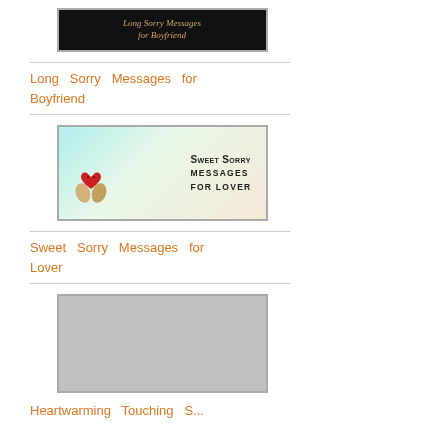[Figure (illustration): Black background image with gold script text reading 'Long Sorry Messages for Boyfriend']
Long Sorry Messages for Boyfriend
[Figure (illustration): Light teal/cream background image with red heart character and text 'Sweet Sorry Messages for Lover']
Sweet Sorry Messages for Lover
[Figure (illustration): Gray placeholder image]
Heartwarming Sorry...